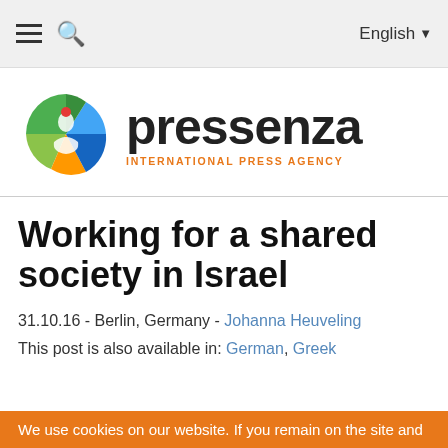English
[Figure (logo): Pressenza International Press Agency logo — colorful globe icon with text 'pressenza' in bold black and 'INTERNATIONAL PRESS AGENCY' in orange]
Working for a shared society in Israel
31.10.16 - Berlin, Germany - Johanna Heuveling
This post is also available in: German, Greek
We use cookies on our website. If you remain on the site and